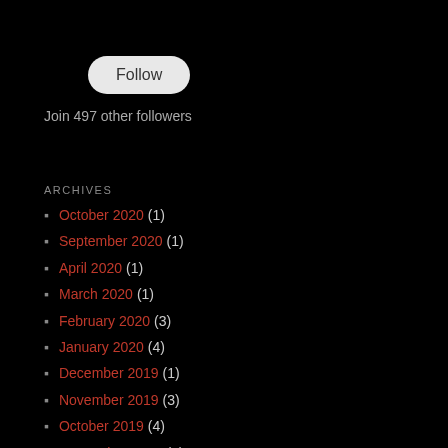[Figure (other): Follow button with rounded rectangle shape, light gray background]
Join 497 other followers
ARCHIVES
October 2020 (1)
September 2020 (1)
April 2020 (1)
March 2020 (1)
February 2020 (3)
January 2020 (4)
December 2019 (1)
November 2019 (3)
October 2019 (4)
September 2019 (4)
August 2019 (1)
July 2019 (2)
June 2019 (3)
May 2019 (5)